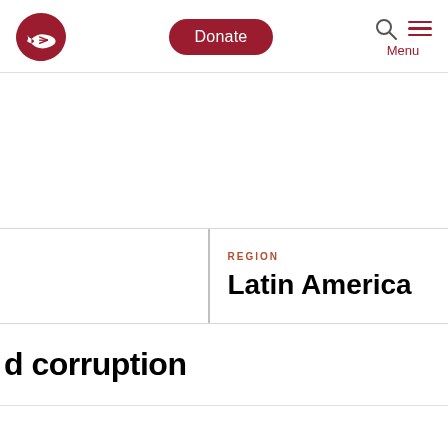Navigation bar with logo, Donate button, search icon, and Menu
REGION
Latin America
d corruption